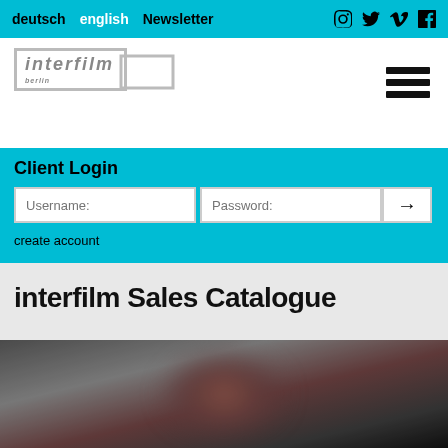deutsch  english  Newsletter  [instagram] [twitter] [vimeo] [facebook]
[Figure (logo): interfilm berlin logo — italic text with border]
[Figure (illustration): Hamburger menu icon (three horizontal bars)]
Client Login
Username: [input]  Password: [input]  [→ button]
create account
interfilm Sales Catalogue
[Figure (photo): Dark blurred photo, appears to show a figure, dark background]